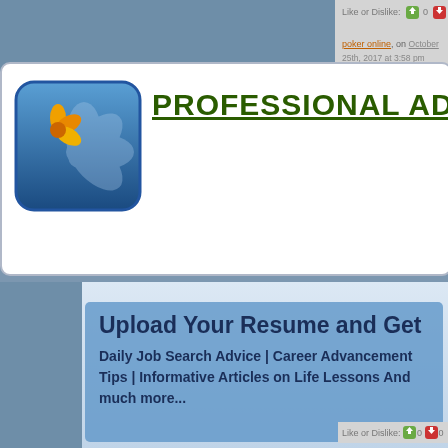Like or Dislike: 0 0
poker online, on October 25th, 2017 at 3:58 pm Said:
[Trackback]
[Figure (logo): Professional Advice website logo with flower icon and blue square background, next to green bold text PROFESSIONAL ADVI...]
PROFESSIONAL ADVI
Upload Your Resume and Get
Daily Job Search Advice | Career Advancement Tips | Informative Articles on Life Lessons And much more...
Like or Dislike: 0 0